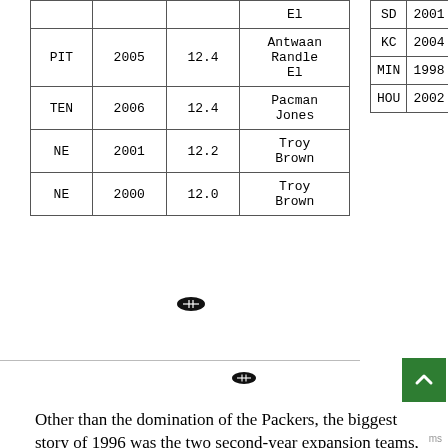| Team | Year | Avg | Player |
| --- | --- | --- | --- |
|  |  |  | El |
| PIT | 2005 | 12.4 | Antwaan Randle El |
| TEN | 2006 | 12.4 | Pacman Jones |
| NE | 2001 | 12.2 | Troy Brown |
| NE | 2000 | 12.0 | Troy Brown |
| Team | Year | Notes |
| --- | --- | --- |
| SD | 2001 | k r |
| KC | 2004 | k r |
| MIN | 1998 | fi g |
| HOU | 2002 | p |
Other than the domination of the Packers, the biggest story of 1996 was the two second-year expansion teams, Carolina and Jacksonville,